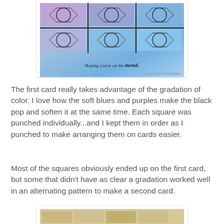[Figure (photo): A greeting card with a geometric mosaic pattern in soft blues and purples, with the text 'Hoping you're on the mend.' and a copyright notice 'Copyright 2010 Susan Raihala']
The first card really takes advantage of the gradation of color. I love how the soft blues and purples make the black pop and soften it at the same time. Each square was punched individually...and I kept them in order as I punched to make arranging them on cards easier.
Most of the squares obviously ended up on the first card, but some that didn't have as clear a gradation worked well in an alternating pattern to make a second card.
[Figure (photo): Partial view of a second greeting card, mostly cropped out at the bottom of the page]